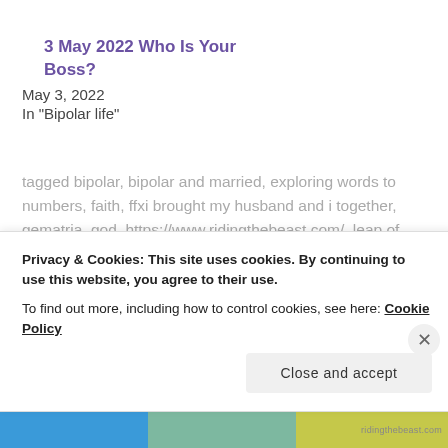3 May 2022 Who Is Your Boss?
May 3, 2022
In "Bipolar life"
tagged bipolar, bipolar and married, exploring words to numbers, faith, ffxi brought my husband and i together, gematria, god, https://www.ridingthebeast.com/, leap of faith, leaps of faith, tend the garden of marriage daily, the challenge of being married to bipolar spouse, the challenge of marriage, the toll bipolar mania takes on your family and friends, wedding anniversary, what does faith mean to you?
Privacy & Cookies: This site uses cookies. By continuing to use this website, you agree to their use.
To find out more, including how to control cookies, see here: Cookie Policy